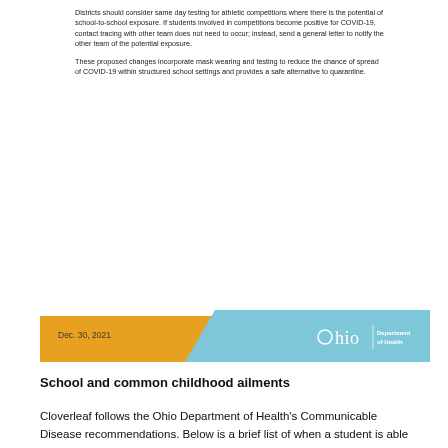Districts should consider same day testing for athletic competitions where there is the potential of school-to-school exposure. If students involved in competitions become positive for COVID-19, contact tracing with other team does not need to occur; instead, send a general letter to notify the other team of the potential exposure.
These proposed changes incorporate mask wearing and testing to reduce the chance of spread of COVID-19 within structured school settings and provides a safe alternative to quarantine.
[Figure (infographic): Ohio Department of Health footer banner with yellow and blue sections. Left yellow section shows date 'Dec. 30, 2021'. Right blue section shows Ohio Department of Health logo with circular O, 'Ohio' text, and 'Department of Health' text.]
School and common childhood ailments
Cloverleaf follows the Ohio Department of Health's Communicable Disease recommendations. Below is a brief list of when a student is able to return to school following common illnesses. Please contact the